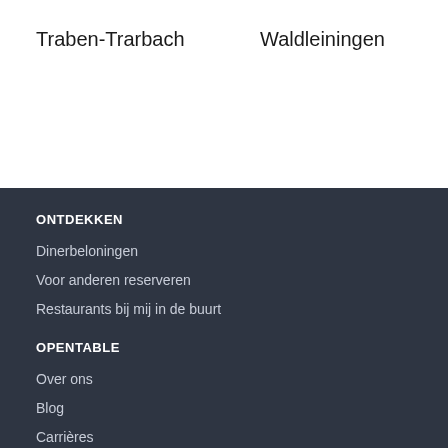Traben-Trarbach
Waldleiningen
ONTDEKKEN
Dinerbeloningen
Voor anderen reserveren
Restaurants bij mij in de buurt
OPENTABLE
Over ons
Blog
Carrières
Pers
MEER
OpenTable voor iOS